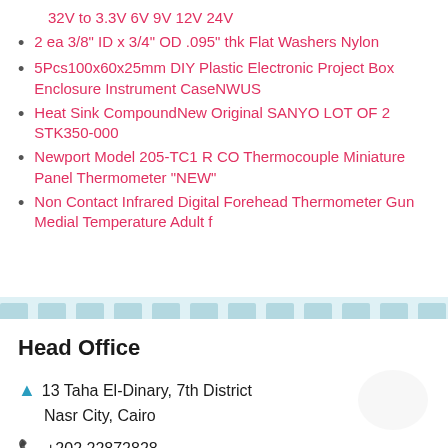32V to 3.3V 6V 9V 12V 24V
2 ea 3/8" ID x 3/4" OD .095" thk Flat Washers Nylon
5Pcs100x60x25mm DIY Plastic Electronic Project Box Enclosure Instrument CaseNWUS
Heat Sink CompoundNew Original SANYO LOT OF 2 STK350-000
Newport Model 205-TC1 R CO Thermocouple Miniature Panel Thermometer "NEW"
Non Contact Infrared Digital Forehead Thermometer Gun Medial Temperature Adult f
Head Office
13 Taha El-Dinary, 7th District
Nasr City, Cairo
+202 22872828